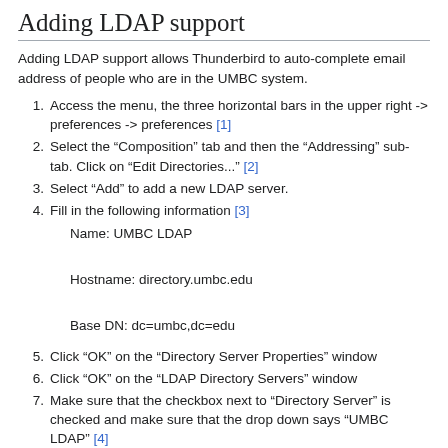Adding LDAP support
Adding LDAP support allows Thunderbird to auto-complete email address of people who are in the UMBC system.
Access the menu, the three horizontal bars in the upper right -> preferences -> preferences [1]
Select the "Composition" tab and then the "Addressing" sub-tab. Click on "Edit Directories..." [2]
Select "Add" to add a new LDAP server.
Fill in the following information [3]

Name: UMBC LDAP

Hostname: directory.umbc.edu

Base DN: dc=umbc,dc=edu
Click "OK" on the "Directory Server Properties" window
Click "OK" on the "LDAP Directory Servers" window
Make sure that the checkbox next to "Directory Server" is checked and make sure that the drop down says "UMBC LDAP" [4]